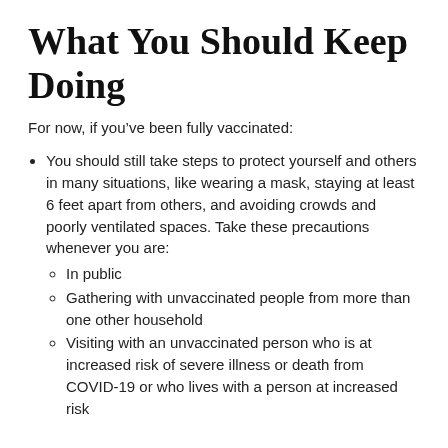What You Should Keep Doing
For now, if you've been fully vaccinated:
You should still take steps to protect yourself and others in many situations, like wearing a mask, staying at least 6 feet apart from others, and avoiding crowds and poorly ventilated spaces. Take these precautions whenever you are:
In public
Gathering with unvaccinated people from more than one other household
Visiting with an unvaccinated person who is at increased risk of severe illness or death from COVID-19 or who lives with a person at increased risk